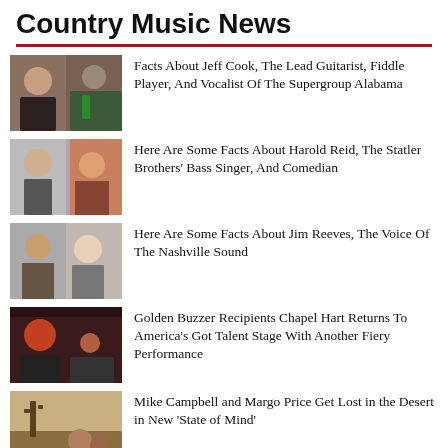Country Music News
Facts About Jeff Cook, The Lead Guitarist, Fiddle Player, And Vocalist Of The Supergroup Alabama
Here Are Some Facts About Harold Reid, The Statler Brothers' Bass Singer, And Comedian
Here Are Some Facts About Jim Reeves, The Voice Of The Nashville Sound
Golden Buzzer Recipients Chapel Hart Returns To America's Got Talent Stage With Another Fiery Performance
Mike Campbell and Margo Price Get Lost in the Desert in New 'State of Mind'